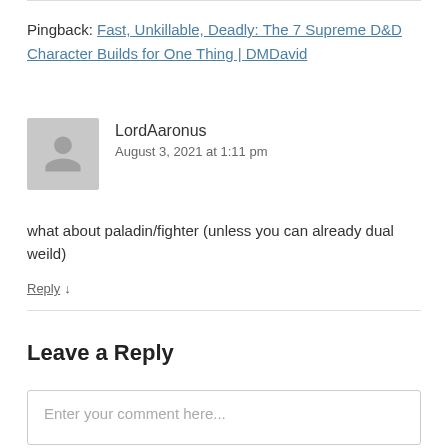Pingback: Fast, Unkillable, Deadly: The 7 Supreme D&D Character Builds for One Thing | DMDavid
LordAaronus
August 3, 2021 at 1:11 pm
what about paladin/fighter (unless you can already dual weild)
Reply ↓
Leave a Reply
Enter your comment here...